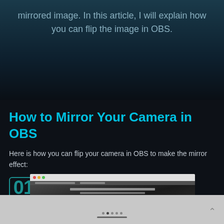mirrored image. In this article, I will explain how you can flip the image in OBS.
How to Mirror Your Camera in OBS
Here is how you can flip your camera in OBS to make the mirror effect:
01 Step 1
[Figure (screenshot): Screenshot of OBS software showing a mirrored camera feed with a perspective corridor effect]